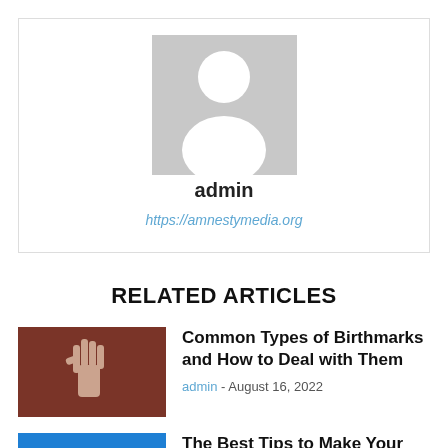[Figure (illustration): Gray avatar/profile placeholder image with silhouette of a person (head and shoulders)]
admin
https://amnestymedia.org
RELATED ARTICLES
[Figure (photo): A hand raised against a rust/brown background]
Common Types of Birthmarks and How to Deal with Them
admin - August 16, 2022
[Figure (photo): Outdoor scene with blue sky and green trees]
The Best Tips to Make Your Small